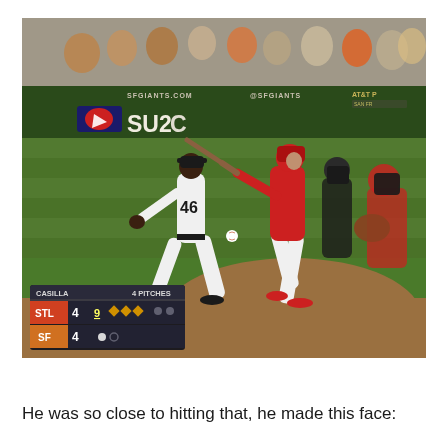[Figure (photo): Baseball game photo showing pitcher #46 (Casilla) delivering a pitch at AT&T Park (SF Giants home). A Cardinals batter in red uniform is swinging, with an umpire and catcher visible behind home plate. The outfield wall shows SFGIANTS.COM, @SFGIANTS, MLB logo, SU2C branding, AT&T logo, and #WOCTOBERTOGETHER. A scoreboard overlay in the lower left shows CASILLA / 4 PITCHES header, STL 4 (inning 9 with bases loaded icons), SF 4 (with count dots).]
He was so close to hitting that, he made this face: